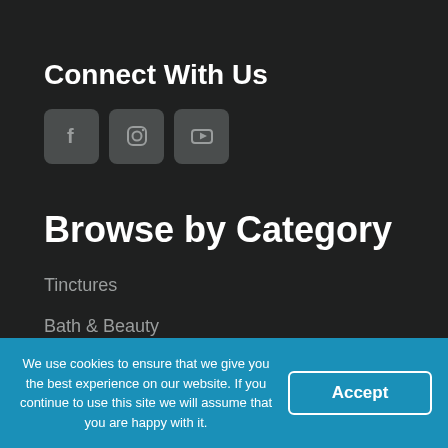Connect With Us
[Figure (illustration): Three social media icons: Facebook (f), Instagram (camera), YouTube (play button), displayed as rounded square buttons]
Browse by Category
Tinctures
Bath & Beauty
Edibles
Sleep
Topicals
Pets & ...
We use cookies to ensure that we give you the best experience on our website. If you continue to use this site we will assume that you are happy with it.